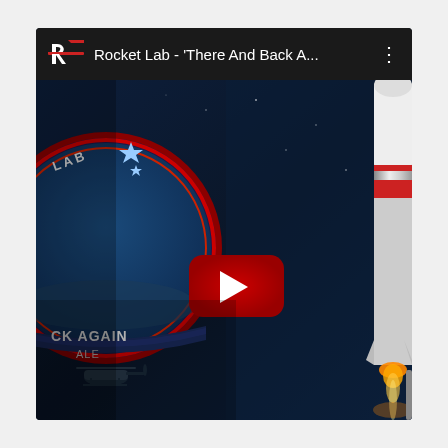[Figure (screenshot): YouTube video thumbnail/player screenshot showing a Rocket Lab video titled 'There And Back A...' with a mission patch badge on the left (showing a helicopter, stars, text 'CK AGAIN' and 'ALE'), a rocket launching on the right side against a dark blue sky background, and a YouTube play button in the center. The top bar shows the Rocket Lab logo, video title, and a three-dot menu icon.]